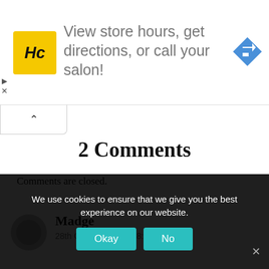[Figure (infographic): Advertisement banner for HC (Hair Cuttery or similar salon): yellow HC logo square on left, text 'View store hours, get directions, or call your salon!' in center, blue diamond directions icon on right. Small play and X icons on far left edge.]
Comments are closed.
2 Comments
Madge
28th October 2014 at 8:18 pm
We use cookies to ensure that we give you the best experience on our website.